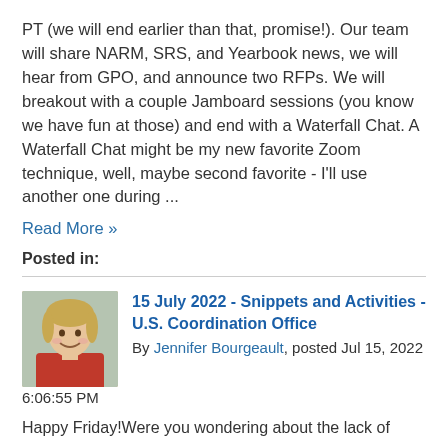PT (we will end earlier than that, promise!). Our team will share NARM, SRS, and Yearbook news, we will hear from GPO, and announce two RFPs. We will breakout with a couple Jamboard sessions (you know we have fun at those) and end with a Waterfall Chat. A Waterfall Chat might be my new favorite Zoom technique, well, maybe second favorite - I'll use another one during ...
Read More »
Posted in:
15 July 2022 - Snippets and Activities - U.S. Coordination Office
By Jennifer Bourgeault, posted Jul 15, 2022 6:06:55 PM
Happy Friday!Were you wondering about the lack of